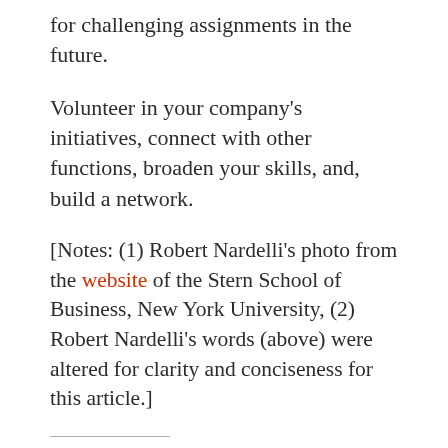for challenging assignments in the future.
Volunteer in your company's initiatives, connect with other functions, broaden your skills, and, build a network.
[Notes: (1) Robert Nardelli's photo from the website of the Stern School of Business, New York University, (2) Robert Nardelli's words (above) were altered for clarity and conciseness for this article.]
Share this: